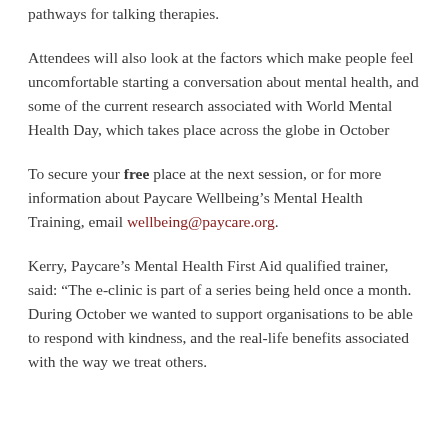pathways for talking therapies.
Attendees will also look at the factors which make people feel uncomfortable starting a conversation about mental health, and some of the current research associated with World Mental Health Day, which takes place across the globe in October
To secure your free place at the next session, or for more information about Paycare Wellbeing's Mental Health Training, email wellbeing@paycare.org.
Kerry, Paycare's Mental Health First Aid qualified trainer, said: “The e-clinic is part of a series being held once a month. During October we wanted to support organisations to be able to respond with kindness, and the real-life benefits associated with the way we treat others.